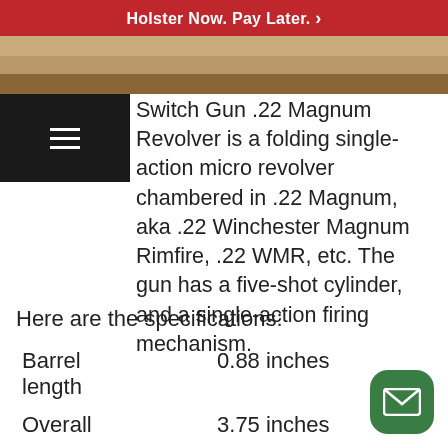Holster Now. Pay Later. >
[Figure (photo): Partial photo strip showing a gun or holster product image cropped at the top]
Switch Gun .22 Magnum Revolver is a folding single-action micro revolver chambered in .22 Magnum, aka .22 Winchester Magnum Rimfire, .22 WMR, etc. The gun has a five-shot cylinder, and a single-action firing mechanism.
Here are the specifications:
| Barrel length | 0.88 inches |
| Overall | 3.75 inches |